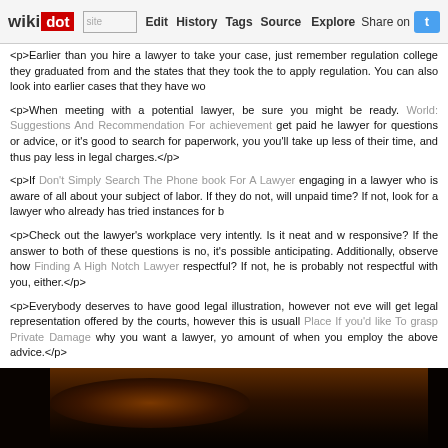wikidot | site Edit History Tags Source Explore Share on Twitter
<p>Earlier than you hire a lawyer to take your case, just remember regulation college they graduated from and the states that they took the to apply regulation. You can also look into earlier cases that they have wo
<p>When meeting with a potential lawyer, be sure you might be ready. World: Suggestions And Recommendation For achievement get paid he lawyer for questions or advice, or it's good to search for paperwork, you you'll take up less of their time, and thus pay less in legal charges.</p>
<p>If Don't Simply Search The Phone book For A Lawyer engaging in a lawyer who is aware of all about your subject of labor. If they do not, will unpaid time? If not, look for a lawyer who already has tried instances for b
<p>Check out the lawyer's workplace very intently. Is it neat and w responsive? If the answer to both of these questions is no, it's possible anticipating. Additionally, observe how Finding A High Notch Lawyer respectful? If not, he is probably not respectful with you, either.</p>
<p>Everybody deserves to have good legal illustration, however not eve will get legal representation offered by the courts, however this is usuall Place If you'd like To grasp Private Damage why you want a lawyer, yo amount of when you employ the above advice.</p>
[Figure (photo): Dark brown/black photograph at the bottom of the page, appears to be a very dark image with minimal detail visible]